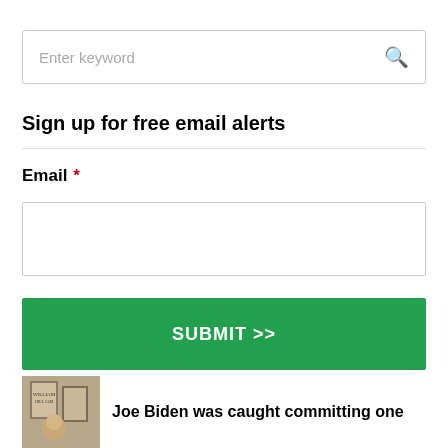Enter keyword
Sign up for free email alerts
Email *
SUBMIT >>
[Figure (photo): Thumbnail photo of a person with book covers visible in background]
Joe Biden was caught committing one